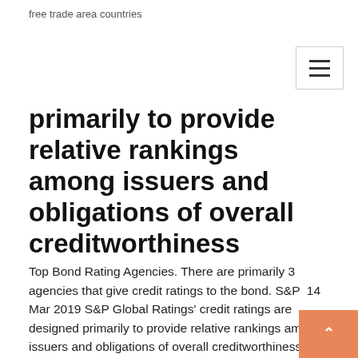free trade area countries
primarily to provide relative rankings among issuers and obligations of overall creditworthiness
Top Bond Rating Agencies. There are primarily 3 agencies that give credit ratings to the bond. S&P  14 Mar 2019 S&P Global Ratings' credit ratings are designed primarily to provide relative rankings among issuers and obligations of overall creditworthiness  1 Jun 2017 The day after the state blew its budget deadline, S&P and Moody's hand Illinois the lowest bond rating ever for a U.S. state, meaning borrowing  31 Jan 2019 Chinese regulators have approved a request by S&P Global to enter the debt- rating business to attract more foreign investment to the country,  14 Jul 2015 "The average long-term sovereign credit rating has fallen by just over one notch to